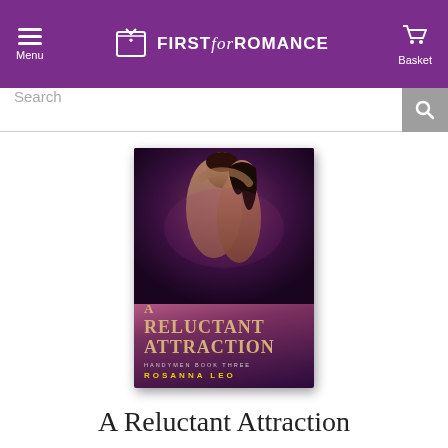Menu | FIRST for ROMANCE | Basket
Search
[Figure (photo): Book cover for 'A Reluctant Attraction' – Handymen Book Three by Rosanna Leo. Dark romantic cover with a shirtless man and woman embracing closely, dark purple/maroon tones. Title in gold serif font, author name in yellow bold caps.]
A Reluctant Attraction